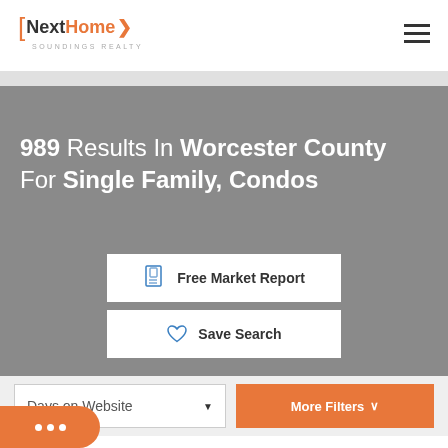[Figure (logo): NextHome Soundings Realty logo with orange bracket and chevron]
989 Results In Worcester County For Single Family, Condos
Free Market Report
Save Search
Days on Website
More Filters